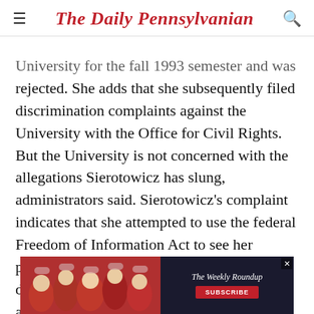The Daily Pennsylvanian
University for the fall 1993 semester and was rejected. She adds that she subsequently filed discrimination complaints against the University with the Office for Civil Rights. But the University is not concerned with the allegations Sierotowicz has slung, administrators said. Sierotowicz's complaint indicates that she attempted to use the federal Freedom of Information Act to see her personal and educational files, but was denied access. She alleges that the records are incorrect and that she has not had the opportunity to fix them. She
[Figure (photo): Advertisement banner for The Weekly Roundup with crowd photo in red shirts and a subscribe button]